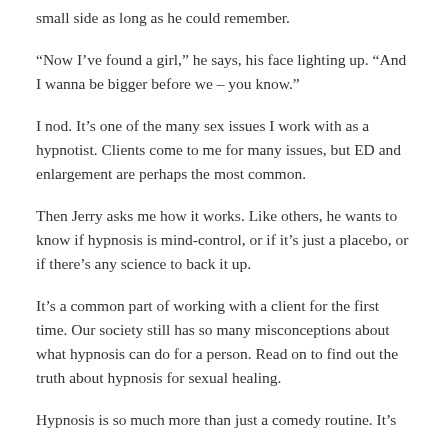small side as long as he could remember.
“Now I’ve found a girl,” he says, his face lighting up. “And I wanna be bigger before we – you know.”
I nod. It’s one of the many sex issues I work with as a hypnotist. Clients come to me for many issues, but ED and enlargement are perhaps the most common.
Then Jerry asks me how it works. Like others, he wants to know if hypnosis is mind-control, or if it’s just a placebo, or if there’s any science to back it up.
It’s a common part of working with a client for the first time. Our society still has so many misconceptions about what hypnosis can do for a person. Read on to find out the truth about hypnosis for sexual healing.
Hypnosis is so much more than just a comedy routine. It’s